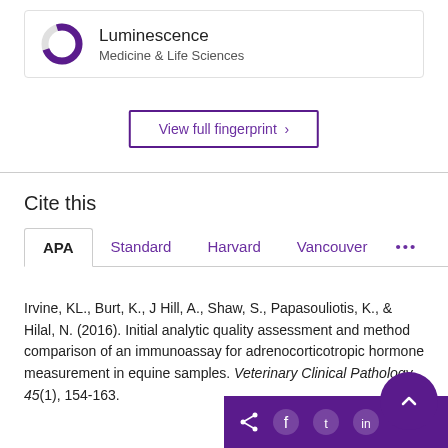[Figure (donut-chart): Luminescence donut chart icon, mostly dark purple with a light grey segment]
Luminescence
Medicine & Life Sciences
View full fingerprint >
Cite this
APA   Standard   Harvard   Vancouver   ...
Irvine, KL., Burt, K., J Hill, A., Shaw, S., Papasouliotis, K., & Hilal, N. (2016). Initial analytic quality assessment and method comparison of an immunoassay for adrenocorticotropic hormone measurement in equine samples. Veterinary Clinical Pathology, 45(1), 154-163.